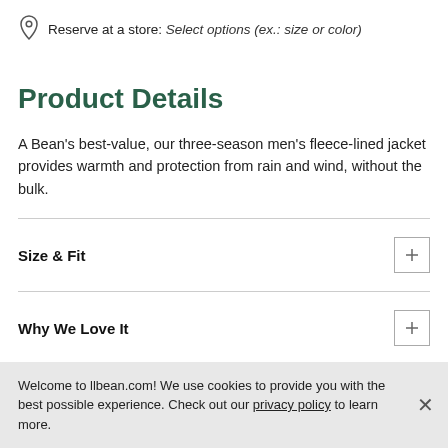Reserve at a store: Select options (ex.: size or color)
Product Details
A Bean's best-value, our three-season men's fleece-lined jacket provides warmth and protection from rain and wind, without the bulk.
Size & Fit
Why We Love It
Welcome to llbean.com! We use cookies to provide you with the best possible experience. Check out our privacy policy to learn more.